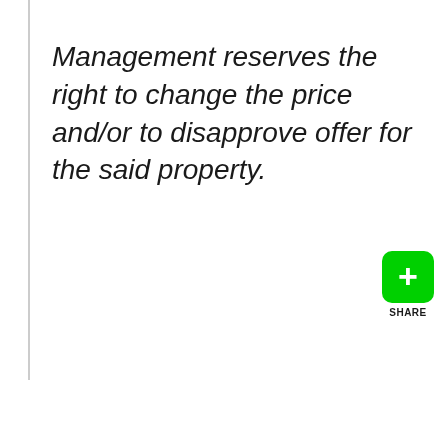Management reserves the right to change the price and/or to disapprove offer for the said property.
[Figure (other): Green share button with white plus sign and SHARE label below]